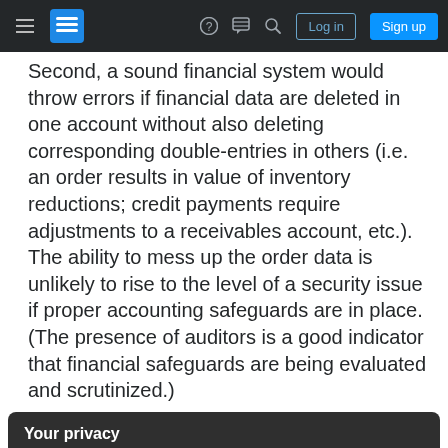Stack Exchange navigation bar with hamburger menu, logo, help, chat, search icons, Log in and Sign up buttons
Second, a sound financial system would throw errors if financial data are deleted in one account without also deleting corresponding double-entries in others (i.e. an order results in value of inventory reductions; credit payments require adjustments to a receivables account, etc.). The ability to mess up the order data is unlikely to rise to the level of a security issue if proper accounting safeguards are in place. (The presence of auditors is a good indicator that financial safeguards are being evaluated and scrutinized.)
Your privacy
By clicking "Accept all cookies", you agree Stack Exchange can store cookies on your device and disclose information in accordance with our Cookie Policy.
Accept all cookies   Customize settings
small company. Still, this data could likely be ... and the financial forensics to...